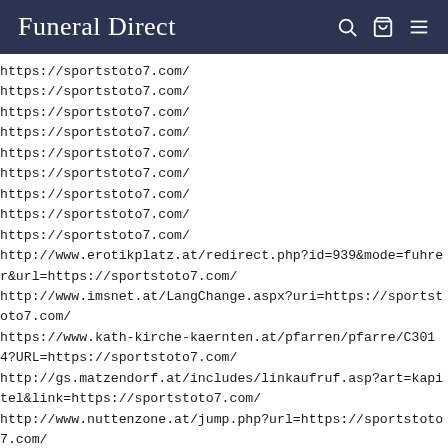Funeral Direct
https://sportstoto7.com/
https://sportstoto7.com/
https://sportstoto7.com/
https://sportstoto7.com/
https://sportstoto7.com/
https://sportstoto7.com/
https://sportstoto7.com/
https://sportstoto7.com/
https://sportstoto7.com/
http://www.erotikplatz.at/redirect.php?id=939&mode=fuhrer&url=https://sportstoto7.com/
http://www.imsnet.at/LangChange.aspx?uri=https://sportstoto7.com/
https://www.kath-kirche-kaernten.at/pfarren/pfarre/C3014?URL=https://sportstoto7.com/
http://gs.matzendorf.at/includes/linkaufruf.asp?art=kapitel&link=https://sportstoto7.com/
http://www.nuttenzone.at/jump.php?url=https://sportstoto7.com/